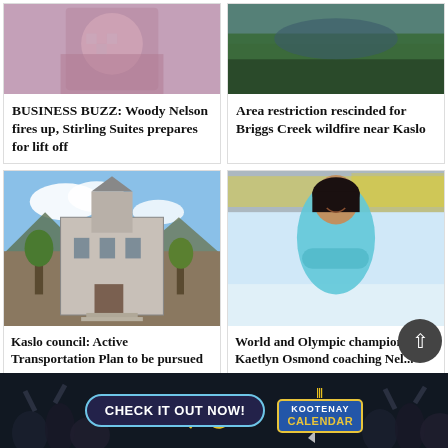[Figure (photo): Person in pink outfit at top left card]
BUSINESS BUZZ: Woody Nelson fires up, Stirling Suites prepares for lift off
[Figure (photo): Aerial view of forest/creek area for Briggs Creek wildfire story]
Area restriction rescinded for Briggs Creek wildfire near Kaslo
[Figure (photo): Victorian-style building in Kaslo with mountains behind]
Kaslo council: Active Transportation Plan to be pursued
[Figure (photo): Woman smiling in teal top at hockey rink]
World and Olympic champion Kaetlyn Osmond coaching Nel...
[Figure (infographic): Advertisement banner: CHECK IT OUT NOW! KOOTENAY CALENDAR with crowd background]